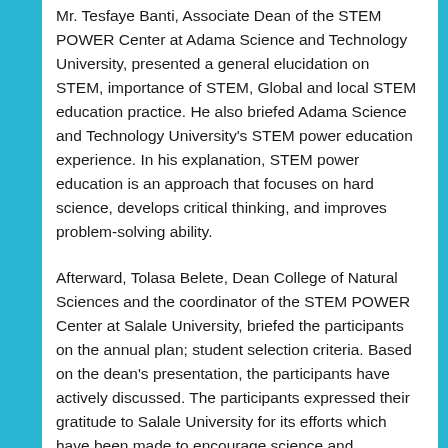Mr. Tesfaye Banti, Associate Dean of the STEM POWER Center at Adama Science and Technology University, presented a general elucidation on STEM, importance of STEM, Global and local STEM education practice. He also briefed Adama Science and Technology University's STEM power education experience. In his explanation, STEM power education is an approach that focuses on hard science, develops critical thinking, and improves problem-solving ability.
Afterward, Tolasa Belete, Dean College of Natural Sciences and the coordinator of the STEM POWER Center at Salale University, briefed the participants on the annual plan; student selection criteria. Based on the dean's presentation, the participants have actively discussed. The participants expressed their gratitude to Salale University for its efforts which have been made to encourage science and innovation.
In his concluding remarks, Dr. Tsegaye Deyou, Vice President for academic affairs of Adama Science and Technology University,